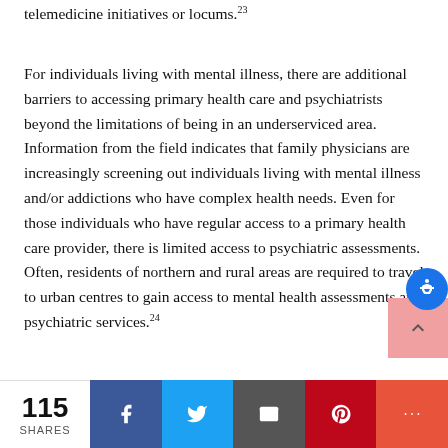telemedicine initiatives or locums.23
For individuals living with mental illness, there are additional barriers to accessing primary health care and psychiatrists beyond the limitations of being in an underserviced area. Information from the field indicates that family physicians are increasingly screening out individuals living with mental illness and/or addictions who have complex health needs. Even for those individuals who have regular access to a primary health care provider, there is limited access to psychiatric assessments. Often, residents of northern and rural areas are required to travel to urban centres to gain access to mental health assessments and psychiatric services.24
When compared to urban areas, hospitals are fewer and farther apart in rural and northern communities.25
115 SHARES